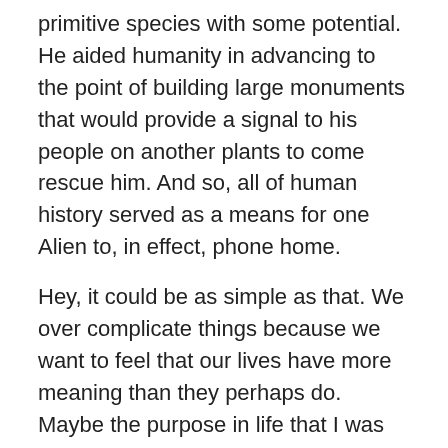primitive species with some potential. He aided humanity in advancing to the point of building large monuments that would provide a signal to his people on another plants to come rescue him. And so, all of human history served as a means for one Alien to, in effect, phone home.
Hey, it could be as simple as that. We over complicate things because we want to feel that our lives have more meaning than they perhaps do. Maybe the purpose in life that I was seeking all this time was served yesterday when I provided directions, in Chinese, to a couple of lost people.
#Chinese #Irony #Coincidence #KurtVonnegutJr #SirensOfTitan
Share this: